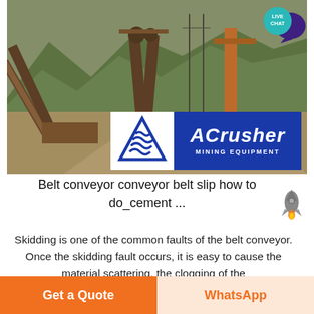[Figure (photo): Industrial mining/quarry site with belt conveyors and heavy machinery, overlaid with ACrusher Mining Equipment logo]
Belt conveyor conveyor belt slip how to do_cement ...
Skidding is one of the common faults of the belt conveyor. Once the skidding fault occurs, it is easy to cause the material scattering, the clogging of the
Get a Quote | WhatsApp